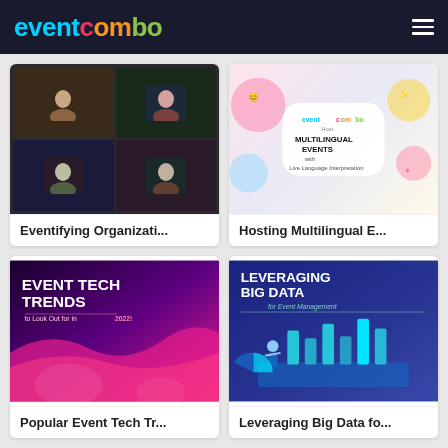[Figure (logo): EventCombo logo in multi-color on dark header background]
[Figure (screenshot): Video conference grid showing multiple people on screen — Eventifying Organizations article thumbnail]
Eventifying Organizati...
[Figure (illustration): Colorful illustration with EventCombo logo in cloud bubble promoting Host Multilingual Events with Live Language Interpretation]
Hosting Multilingual E...
[Figure (illustration): Dark purple and pink gradient graphic with text EVENT TECH TRENDS to Look Out for in 2022!]
Popular Event Tech Tr...
[Figure (illustration): Dark blue gradient graphic with text LEVERAGING BIG DATA for Event Management with isometric bar charts and figure]
Leveraging Big Data fo...